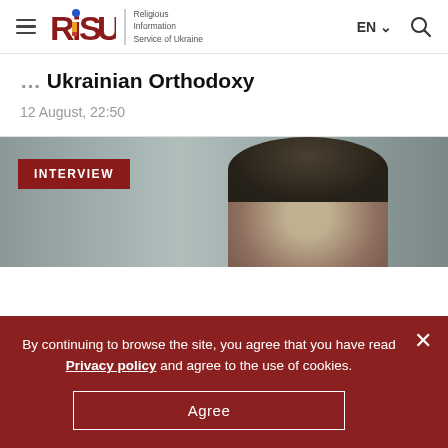RISU — Religious Information Service of Ukraine | EN | Search
Ukrainian Orthodoxy
12 August, 22:50
[Figure (photo): Interview badge overlay on a photo of a person with dark hair, grey background]
By continuing to browse the site, you agree that you have read Privacy policy and agree to the use of cookies.
Agree